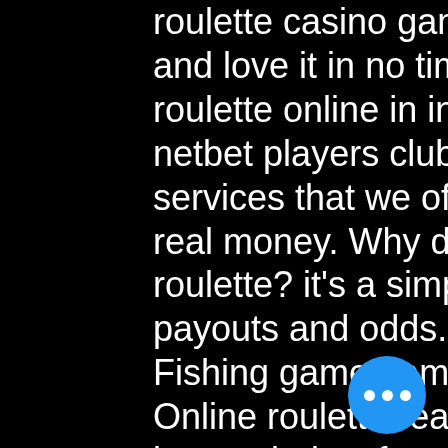roulette casino game guide, you will pick it up and love it in no time. Best online casinos to play roulette online in india. Netbet players club. The netbet players club is one of our favourite services that we offer. Play roulette online for real money. Why do so many casino players love roulette? it's a simple game which offers many payouts and odds. You can switch tables. Fishing game gambling | slots | dragon vs tiger. Online roulette real money casinos have surged in popularity after the pandemic and roulette has become. We review and rank the best online casinos and betting sites. Live casino dealers; bet on sports; bet on esports; play on slots; real money betting. Mar 17, 2022 - yes, playing online roulette as well as playing any other online casino game is legal in india. There are no federal or national laws in. Compare all casino sites in india and claim the latest and best bonuses for online casinos! free spins, matching bonuses and
[Figure (other): Blue circular floating action button with three white dots (ellipsis/more options icon) in the bottom-right area of the page]